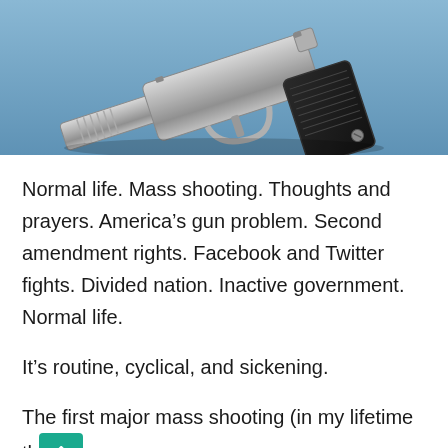[Figure (photo): A silver/chrome semi-automatic handgun lying on a blue surface, photographed from above at an angle, showing the grip, trigger guard, and barrel.]
Normal life. Mass shooting. Thoughts and prayers. America’s gun problem. Second amendment rights. Facebook and Twitter fights. Divided nation. Inactive government. Normal life.
It’s routine, cyclical, and sickening.
The first major mass shooting (in my lifetime th… can remember) was Columbine. It was horrific to